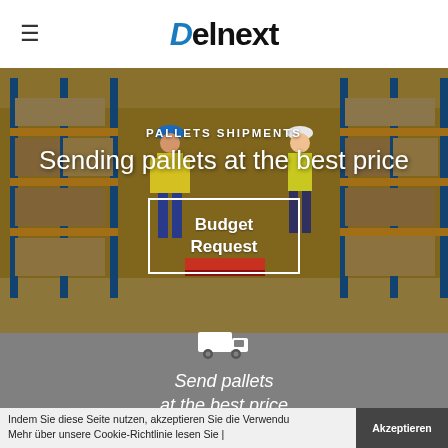Delnext
[Figure (photo): Warehouse interior with yellow metal shelving racks stacked with boxes, two workers in yellow high-visibility vests moving pallets with pallet jacks]
PALLETS SHIPMENTS
Sending pallets at the best price
Budget Request
[Figure (illustration): White delivery truck icon]
Send pallets at the best price
Indem Sie diese Seite nutzen, akzeptieren Sie die Verwendu... Mehr über unsere Cookie-Richtlinie lesen Sie |...
Akzeptieren